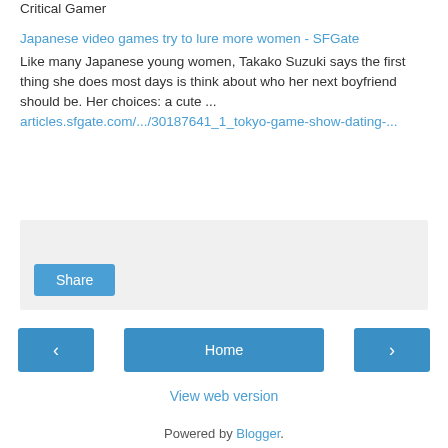Critical Gamer
Japanese video games try to lure more women - SFGate
Like many Japanese young women, Takako Suzuki says the first thing she does most days is think about who her next boyfriend should be. Her choices: a cute ...
articles.sfgate.com/.../30187641_1_tokyo-game-show-dating-...
[Figure (other): Share button area with light gray background]
[Figure (other): Navigation buttons: left arrow, Home, right arrow]
View web version
Powered by Blogger.